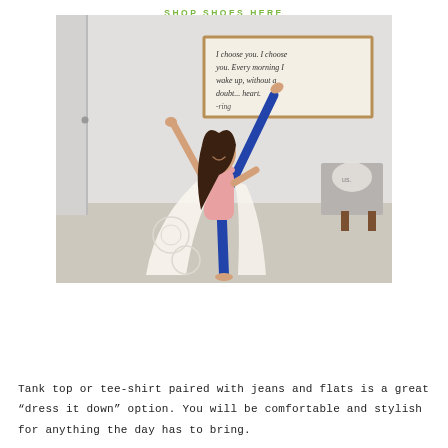SHOP SHOES HERE
[Figure (photo): Woman performing a high kick yoga/dance pose wearing blue jeans, pink top, and a white lace kimono cardigan. She is standing on one foot with the other leg raised vertically, arm raised. Background shows a home interior with a framed sign, gray chair, and door.]
Tank top or tee-shirt paired with jeans and flats is a great “dress it down” option. You will be comfortable and stylish for anything the day has to bring.